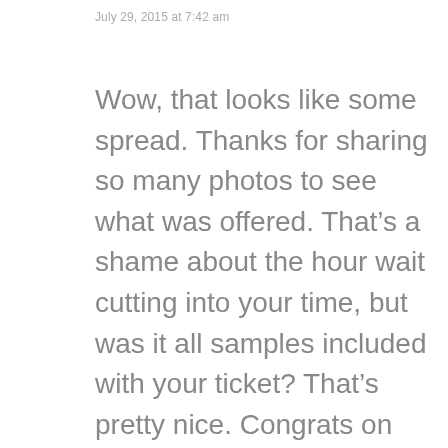July 29, 2015 at 7:42 am
Wow, that looks like some spread. Thanks for sharing so many photos to see what was offered. That’s a shame about the hour wait cutting into your time, but was it all samples included with your ticket? That’s pretty nice. Congrats on